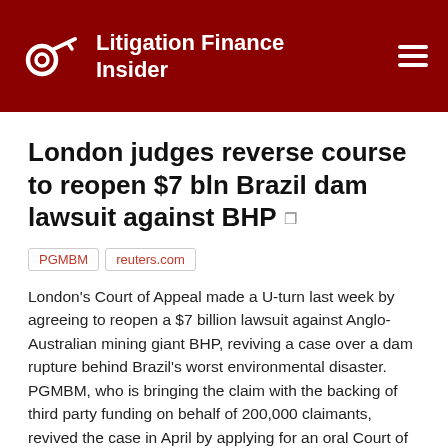Litigation Finance Insider
London judges reverse course to reopen $7 bln Brazil dam lawsuit against BHP
PGMBM  reuters.com
London's Court of Appeal made a U-turn last week by agreeing to reopen a $7 billion lawsuit against Anglo-Australian mining giant BHP, reviving a case over a dam rupture behind Brazil's worst environmental disaster. PGMBM, who is bringing the claim with the backing of third party funding on behalf of 200,000 claimants, revived the case in April by applying for an oral Court of Appeal hearing - reserved only for exceptional cases - and arguing that the appeal judge had not properly grappled with arguments about why the case should proceed.